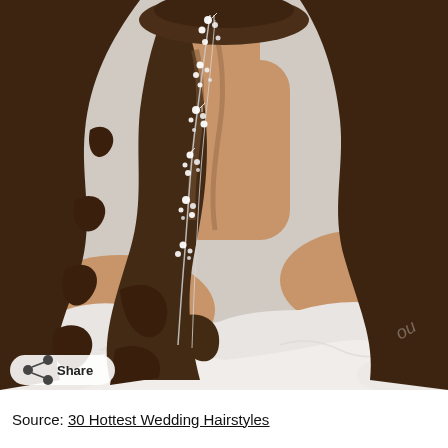[Figure (photo): Back view of a woman with long wavy brown hair adorned with a sparkling pearl and crystal hair vine accessory. She is wearing an off-the-shoulder white dress. A 'Share' button with share icon appears in the lower-left corner of the photo overlay.]
Source: 30 Hottest Wedding Hairstyles